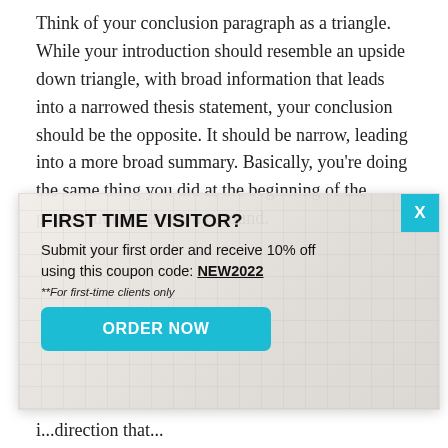Think of your conclusion paragraph as a triangle. While your introduction should resemble an upside down triangle, with broad information that leads into a narrowed thesis statement, your conclusion should be the opposite. It should be narrow, leading into a more broad summary. Basically, you're doing the same thing you did at the beginning of the paper, but the other way around.
[Figure (other): Promotional popup overlay with a desk/office background image (keyboard, phone, plant, pens). Contains heading 'FIRST TIME VISITOR?', body text about 10% off with coupon code NEW2022, fine print, and an ORDER NOW button. A cyan X close button appears in top right.]
i...direction that...